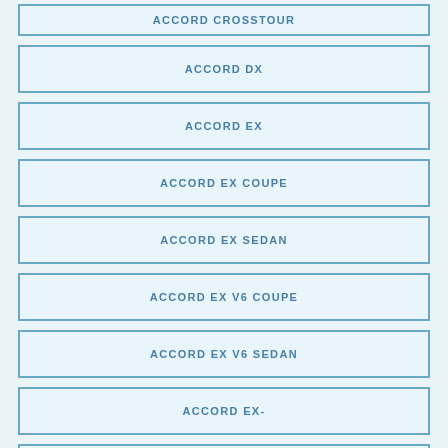ACCORD CROSSTOUR
ACCORD DX
ACCORD EX
ACCORD EX COUPE
ACCORD EX SEDAN
ACCORD EX V6 COUPE
ACCORD EX V6 SEDAN
ACCORD EX-
ACCORD EX-L